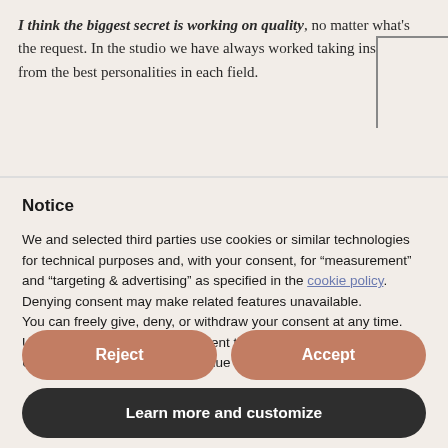I think the biggest secret is working on quality, no matter what's the request. In the studio we have always worked taking inspiration from the best personalities in each field.
Notice
We and selected third parties use cookies or similar technologies for technical purposes and, with your consent, for “measurement” and “targeting & advertising” as specified in the cookie policy. Denying consent may make related features unavailable. You can freely give, deny, or withdraw your consent at any time. Use the “Accept” button to consent to the use of such technologies. Use the “Reject” button to continue without accepting.
Reject
Accept
Learn more and customize